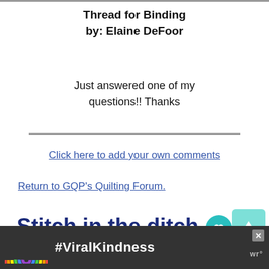Thread for Binding
by: Elaine DeFoor
Just answered one of my questions!! Thanks
Click here to add your own comments
Return to GQP's Quilting Forum.
Stitch in the ditch or binding first
[Figure (screenshot): Advertisement banner with rainbow graphic and #ViralKindness text on dark background]